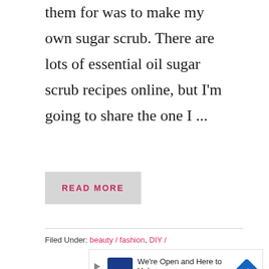them for was to make my own sugar scrub. There are lots of essential oil sugar scrub recipes online, but I'm going to share the one I ...
READ MORE
Filed Under: beauty / fashion, DIY /
[Figure (other): CarMax advertisement banner: 'We're Open and Here to Help' with CarMax logo and blue diamond navigation icon]